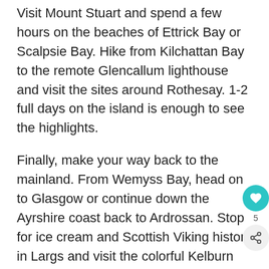Visit Mount Stuart and spend a few hours on the beaches of Ettrick Bay or Scalpsie Bay. Hike from Kilchattan Bay to the remote Glencallum lighthouse and visit the sites around Rothesay. 1-2 full days on the island is enough to see the highlights.
Finally, make your way back to the mainland. From Wemyss Bay, head on to Glasgow or continue down the Ayrshire coast back to Ardrossan. Stop for ice cream and Scottish Viking history in Largs and visit the colorful Kelburn Castle.